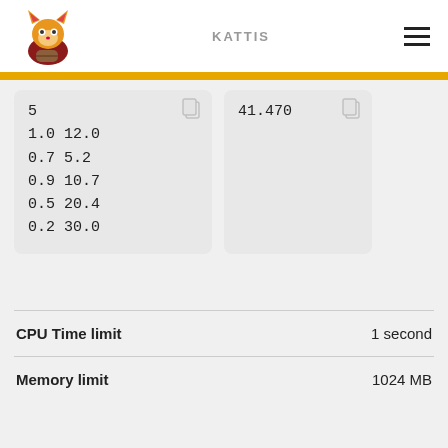KATTIS
5
1.0 12.0
0.7 5.2
0.9 10.7
0.5 20.4
0.2 30.0
41.470
| Field | Value |
| --- | --- |
| CPU Time limit | 1 second |
| Memory limit | 1024 MB |